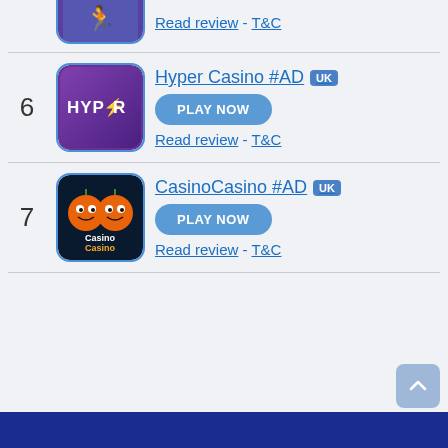[Figure (screenshot): Partial top entry showing logo and Read review - T&C links]
6 Hyper Casino #AD UK - PLAY NOW - Read review - T&C
7 CasinoCasino #AD UK - PLAY NOW - Read review - T&C